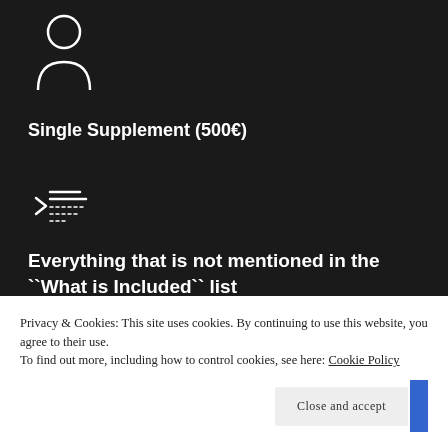[Figure (illustration): White outline icon of a person/user silhouette on dark background]
Single Supplement (500€)
[Figure (illustration): White outline icon of a list/menu with lines on dark background]
Everything that is not mentioned in the ``What is Included`` list
[Figure (illustration): White outline icon of a headset/customer support on dark background]
Privacy & Cookies: This site uses cookies. By continuing to use this website, you agree to their use.
To find out more, including how to control cookies, see here: Cookie Policy